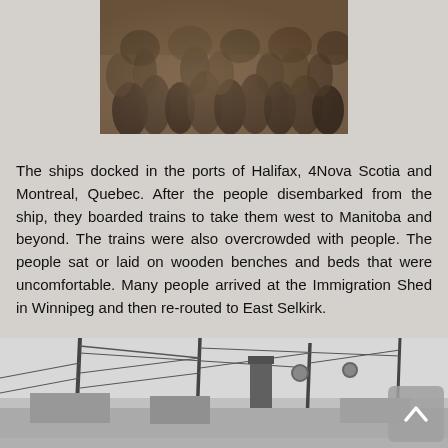[Figure (photo): Sepia-toned historical photograph of a large crowd of people, likely immigrants, packed together on a ship deck or in a hall.]
The ships docked in the ports of Halifax, 4Nova Scotia and Montreal, Quebec. After the people disembarked from the ship, they boarded trains to take them west to Manitoba and beyond. The trains were also overcrowded with people. The people sat or laid on wooden benches and beds that were uncomfortable. Many people arrived at the Immigration Shed in Winnipeg and then re-routed to East Selkirk.
[Figure (photo): Black and white photograph of a ship's deck showing masts, rigging, smokestacks, and various deck equipment.]